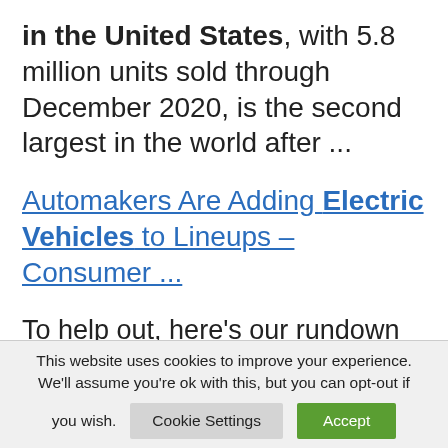in the United States, with 5.8 million units sold through December 2020, is the second largest in the world after ...
Automakers Are Adding Electric Vehicles to Lineups – Consumer ...
To help out, here's our rundown of each manufacturer's EV production plans for the years ahead. American Honda Motor Co. • BMW ...
This website uses cookies to improve your experience. We'll assume you're ok with this, but you can opt-out if you wish.